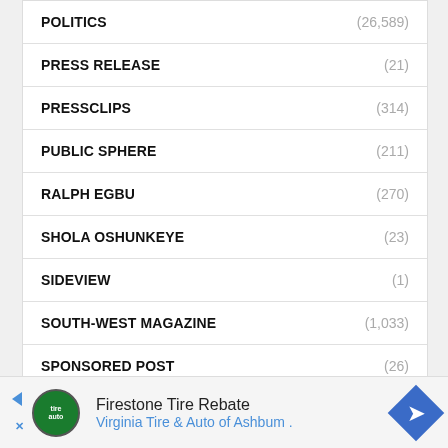POLITICS (26,589)
PRESS RELEASE (21)
PRESSCLIPS (314)
PUBLIC SPHERE (211)
RALPH EGBU (270)
SHOLA OSHUNKEYE (23)
SIDEVIEW (1)
SOUTH-WEST MAGAZINE (1,033)
SPONSORED POST (26)
SPORTING SUN (12,283)
[Figure (infographic): Advertisement banner: Firestone Tire Rebate - Virginia Tire & Auto of Ashburn with logo and navigation arrow icon]